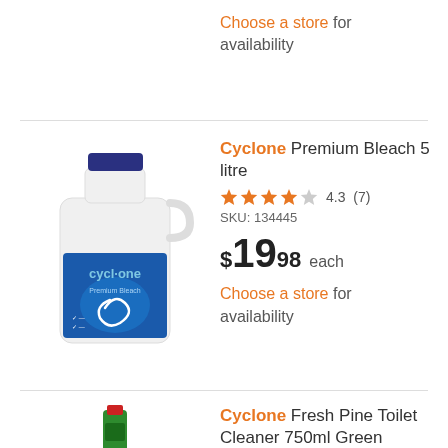Choose a store for availability
[Figure (photo): Cyclone Premium Bleach 5 litre white bottle with blue label showing cyclone branding]
Cyclone Premium Bleach 5 litre
4.3 (7)
SKU: 134445
$19.98 each
Choose a store for availability
[Figure (photo): Cyclone Fresh Pine Toilet Cleaner 750ml Green bottle with red cap]
Cyclone Fresh Pine Toilet Cleaner 750ml Green